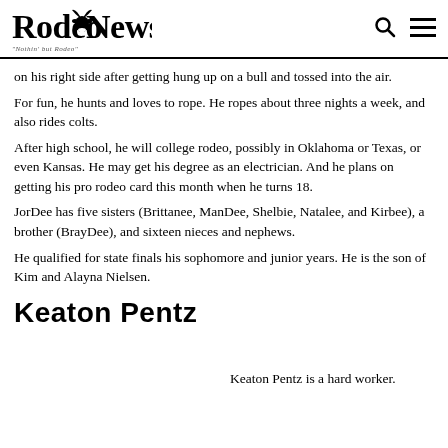Rodeo News — Nothin' but Rodeo
on his right side after getting hung up on a bull and tossed into the air.
For fun, he hunts and loves to rope. He ropes about three nights a week, and also rides colts.
After high school, he will college rodeo, possibly in Oklahoma or Texas, or even Kansas. He may get his degree as an electrician. And he plans on getting his pro rodeo card this month when he turns 18.
JorDee has five sisters (Brittanee, ManDee, Shelbie, Natalee, and Kirbee), a brother (BrayDee), and sixteen nieces and nephews.
He qualified for state finals his sophomore and junior years. He is the son of Kim and Alayna Nielsen.
Keaton Pentz
Keaton Pentz is a hard worker.